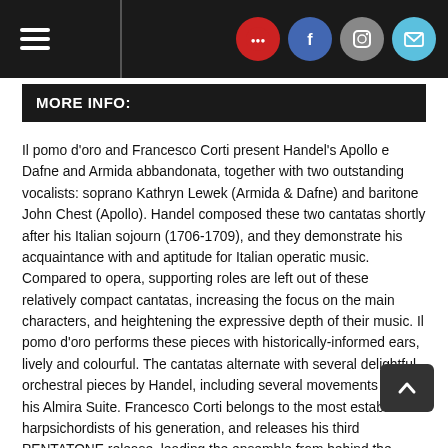Navigation header with hamburger menu and social icons (logo, Facebook, Instagram, Email)
MORE INFO:
Il pomo d'oro and Francesco Corti present Handel's Apollo e Dafne and Armida abbandonata, together with two outstanding vocalists: soprano Kathryn Lewek (Armida & Dafne) and baritone John Chest (Apollo). Handel composed these two cantatas shortly after his Italian sojourn (1706-1709), and they demonstrate his acquaintance with and aptitude for Italian operatic music. Compared to opera, supporting roles are left out of these relatively compact cantatas, increasing the focus on the main characters, and heightening the expressive depth of their music. Il pomo d'oro performs these pieces with historically-informed ears, lively and colourful. The cantatas alternate with several delightful orchestral pieces by Handel, including several movements from his Almira Suite. Francesco Corti belongs to the most established harpsichordists of his generation, and releases his third PENTATONE release, leading the ensemble from behind the harpsichord. He works together with the multi-award-winning ensemble il pomo d'oro, who also recorded two Bach harpsichord concertos albums with Corti (2020 and 2021), as well as vocal recital albums with PENTATONE: Carnevale